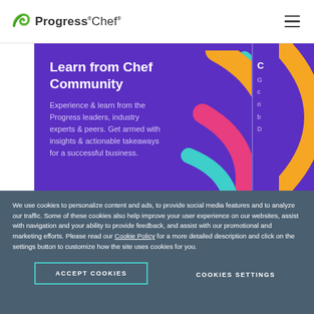[Figure (logo): Progress Chef logo with green leaf icon and company name]
[Figure (screenshot): Purple promotional card: Learn from Chef Community — Experience & learn from the Progress leaders, industry experts & peers. Get armed with insights & actionable takeaways for a successful business. Decorative concentric arcs in orange, pink, teal.]
We use cookies to personalize content and ads, to provide social media features and to analyze our traffic. Some of these cookies also help improve your user experience on our websites, assist with navigation and your ability to provide feedback, and assist with our promotional and marketing efforts. Please read our Cookie Policy for a more detailed description and click on the settings button to customize how the site uses cookies for you.
ACCEPT COOKIES
COOKIES SETTINGS